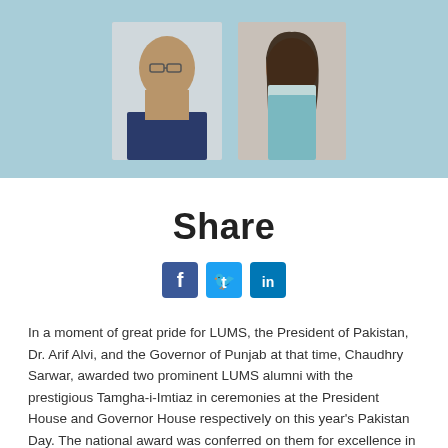[Figure (photo): Two portrait photos side by side on a light blue background: a man in a suit with glasses (left) and a woman with long dark hair (right)]
Share
[Figure (infographic): Three social media share buttons: Facebook (f), Twitter (bird), LinkedIn (in)]
In a moment of great pride for LUMS, the President of Pakistan, Dr. Arif Alvi, and the Governor of Punjab at that time, Chaudhry Sarwar, awarded two prominent LUMS alumni with the prestigious Tamgha-i-Imtiaz in ceremonies at the President House and Governor House respectively on this year's Pakistan Day. The national award was conferred on them for excellence in their chosen fields.
A household name in the Pakistani media landscape, Mariam Daroit from the class of MBA 1997 was credited...